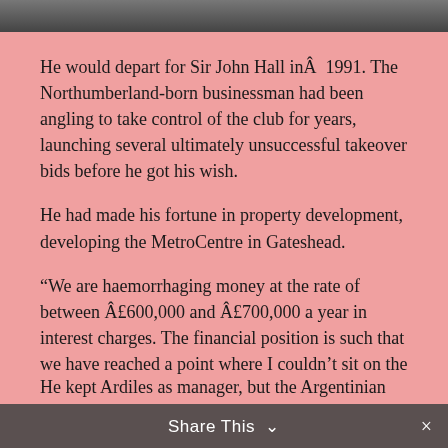[Figure (photo): Partial photo strip visible at the top of the page, showing the bottom edge of an image with dark tones.]
He would depart for Sir John Hall inÂ  1991. The Northumberland-born businessman had been angling to take control of the club for years, launching several ultimately unsuccessful takeover bids before he got his wish.
He had made his fortune in property development, developing the MetroCentre in Gateshead.
“We are haemorrhaging money at the rate of between Â£600,000 and Â£700,000 a year in interest charges. The financial position is such that we have reached a point where I couldn’t sit on the sidelines any longer,â€ he said after gaining partial control in November 1991.
Share This ∨  ×
He kept Ardiles as manager, but the Argentinian sadly